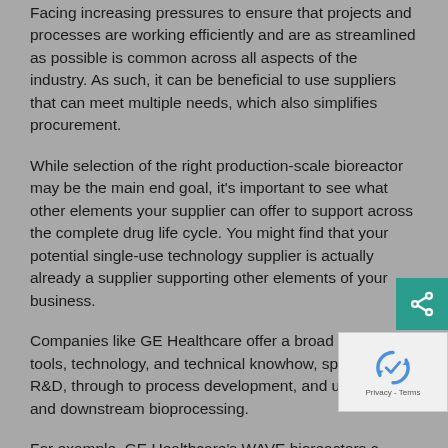Facing increasing pressures to ensure that projects and processes are working efficiently and are as streamlined as possible is common across all aspects of the industry. As such, it can be beneficial to use suppliers that can meet multiple needs, which also simplifies procurement.
While selection of the right production-scale bioreactor may be the main end goal, it's important to see what other elements your supplier can offer to support across the complete drug life cycle. You might find that your potential single-use technology supplier is actually already a supplier supporting other elements of your business.
Companies like GE Healthcare offer a broad range of tools, technology, and technical knowhow, spanning R&D, through to process development, and upstream and downstream bioprocessing.
For example, GE Healthcare's WAVE bioreactors c… used for seed trains and the ÄKTA™ ready…